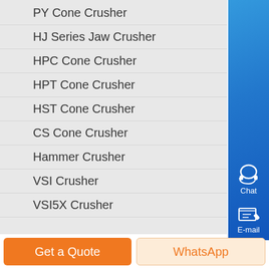PY Cone Crusher
HJ Series Jaw Crusher
HPC Cone Crusher
HPT Cone Crusher
HST Cone Crusher
CS Cone Crusher
Hammer Crusher
VSI Crusher
VSI5X Crusher
[Figure (other): Blue sidebar with chat headset icon and e-mail icon]
Get a Quote
WhatsApp